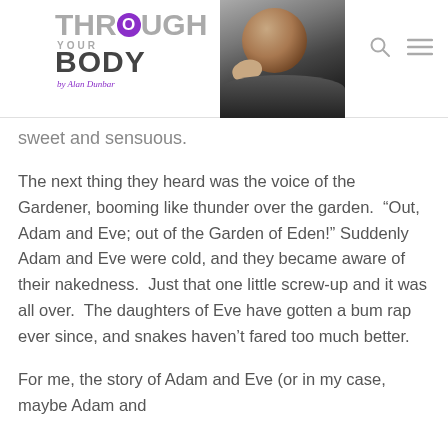Through Your Body — website header with logo and portrait photo
sweet and sensuous.
The next thing they heard was the voice of the Gardener, booming like thunder over the garden.  “Out, Adam and Eve; out of the Garden of Eden!” Suddenly Adam and Eve were cold, and they became aware of their nakedness.  Just that one little screw-up and it was all over.  The daughters of Eve have gotten a bum rap ever since, and snakes haven’t fared too much better.
For me, the story of Adam and Eve (or in my case, maybe Adam and